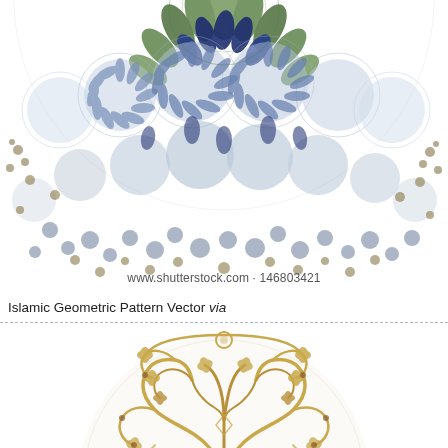[Figure (illustration): Islamic geometric mosaic pattern showing a half-circle mandala with intricate tessellating shapes. Colors include navy blue, sage green, light blue/periwinkle, and golden/olive tones on white background. The pattern features radiating petals and circular rosette motifs.]
www.shutterstock.com · 146803421
Islamic Geometric Pattern Vector via
[Figure (illustration): Golden/tan arabesque floral ornament showing a half-circle medallion with scrolling vines and stylized leaves in golden and dark brown tones on white background.]